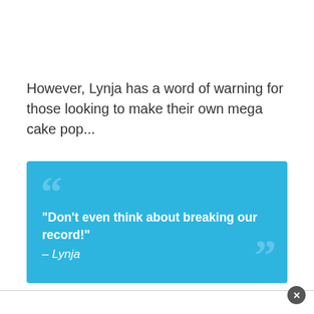However, Lynja has a word of warning for those looking to make their own mega cake pop...
[Figure (infographic): Blue quote box with large decorative quotation marks. Quote text: "Don't even think about breaking our record!" – Lynja]
[Figure (photo): Partial image strip visible at bottom of page, showing people or objects, partially obscured by an advertisement bar with a close button.]